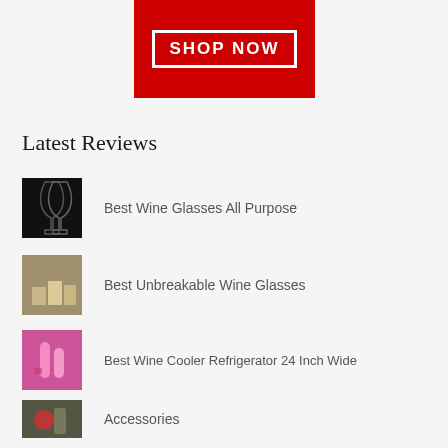[Figure (other): Red banner with white-bordered SHOP NOW button]
Latest Reviews
Best Wine Glasses All Purpose
Best Unbreakable Wine Glasses
Best Wine Cooler Refrigerator 24 Inch Wide
Accessories
Best Beverage Refrigerator And Wine Cooler